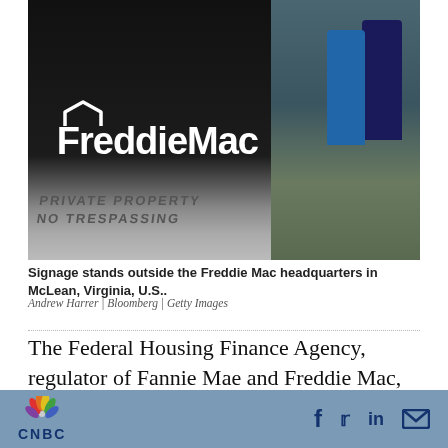[Figure (photo): Freddie Mac headquarters sign in McLean, Virginia with people walking in background. Black stone sign displays the Freddie Mac logo with house icon. Bottom of sign reads PRIVATE PROPERTY NO TRESPASSING.]
Signage stands outside the Freddie Mac headquarters in McLean, Virginia, U.S..
Andrew Harrer | Bloomberg | Getty Images
The Federal Housing Finance Agency, regulator of Fannie Mae and Freddie Mac, announced that the two mortgage giants will now buy home loans